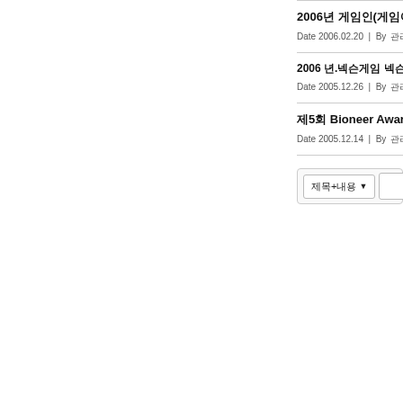2006년 게임인(게임아카데미)과의 World...
Date 2006.02.20 | By 관리자 | Vi...
2006 년.넥슨게임 넥슨게임 참가자 모집 공고 안...
Date 2005.12.26 | By 관리자 | Vi...
제5회 Bioneer Award 수상자 발...
Date 2005.12.14 | By 관리자 | Vi...
제목+내용 ▾ [search input]